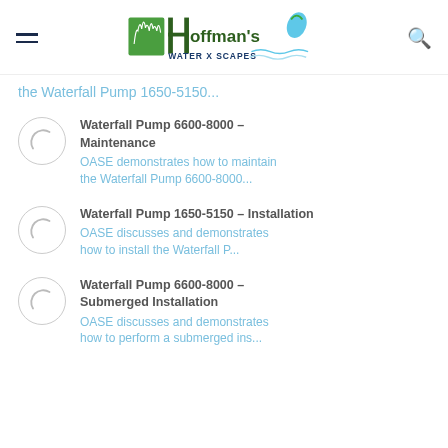[Figure (logo): Hoffman's Water X Scapes logo with green plant graphic and water drop]
the Waterfall Pump 1650-5150...
Waterfall Pump 6600-8000 – Maintenance
OASE demonstrates how to maintain the Waterfall Pump 6600-8000...
Waterfall Pump 1650-5150 – Installation
OASE discusses and demonstrates how to install the Waterfall P...
Waterfall Pump 6600-8000 – Submerged Installation
OASE discusses and demonstrates how to perform a submerged ins...